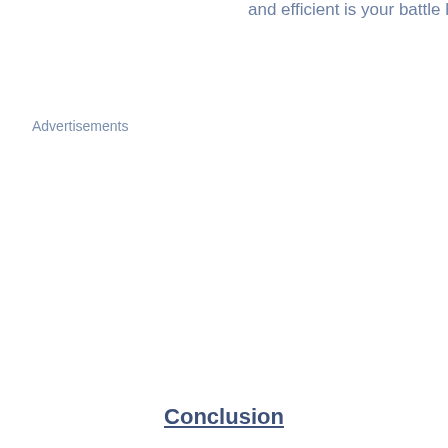and efficient is your battle hor
Advertisements
Conclusion